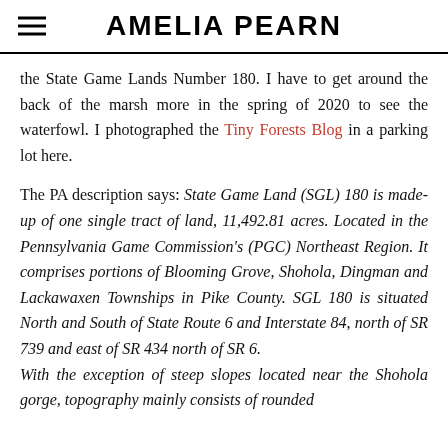AMELIA PEARN
the State Game Lands Number 180. I have to get around the back of the marsh more in the spring of 2020 to see the waterfowl. I photographed the Tiny Forests Blog in a parking lot here.
The PA description says: State Game Land (SGL) 180 is made-up of one single tract of land, 11,492.81 acres. Located in the Pennsylvania Game Commission's (PGC) Northeast Region. It comprises portions of Blooming Grove, Shohola, Dingman and Lackawaxen Townships in Pike County. SGL 180 is situated North and South of State Route 6 and Interstate 84, north of SR 739 and east of SR 434 north of SR 6. With the exception of steep slopes located near the Shohola gorge, topography mainly consists of rounded